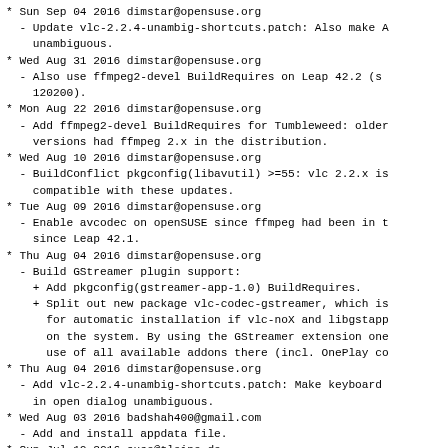* Sun Sep 04 2016 dimstar@opensuse.org
  - Update vlc-2.2.4-unambig-shortcuts.patch: Also make A
    unambiguous.
* Wed Aug 31 2016 dimstar@opensuse.org
  - Also use ffmpeg2-devel BuildRequires on Leap 42.2 (s
    120200).
* Mon Aug 22 2016 dimstar@opensuse.org
  - Add ffmpeg2-devel BuildRequires for Tumbleweed: older
    versions had ffmpeg 2.x in the distribution.
* Wed Aug 10 2016 dimstar@opensuse.org
  - BuildConflict pkgconfig(libavutil) >=55: vlc 2.2.x is
    compatible with these updates.
* Tue Aug 09 2016 dimstar@opensuse.org
  - Enable avcodec on openSUSE since ffmpeg had been in t
    since Leap 42.1.
* Thu Aug 04 2016 dimstar@opensuse.org
  - Build GStreamer plugin support:
    + Add pkgconfig(gstreamer-app-1.0) BuildRequires.
    + Split out new package vlc-codec-gstreamer, which is
      for automatic installation if vlc-noX and libgstapp
      on the system. By using the GStreamer extension one
      use of all available addons there (incl. OnePlay co
* Thu Aug 04 2016 dimstar@opensuse.org
  - Add vlc-2.2.4-unambig-shortcuts.patch: Make keyboard
    in open dialog unambiguous.
* Wed Aug 03 2016 badshah400@gmail.com
  - Add and install appdata file.
* Sun Jul 10 2016 suse@tleine.de
  - disable freerdp module support on openSUSE Leap 42.2
    has freerdp 2.